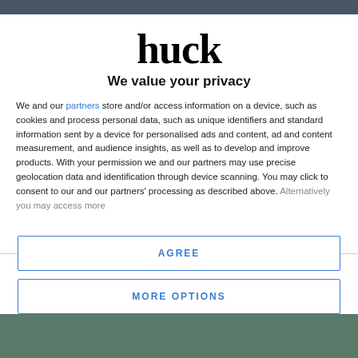huck
We value your privacy
We and our partners store and/or access information on a device, such as cookies and process personal data, such as unique identifiers and standard information sent by a device for personalised ads and content, ad and content measurement, and audience insights, as well as to develop and improve products. With your permission we and our partners may use precise geolocation data and identification through device scanning. You may click to consent to our and our partners' processing as described above. Alternatively you may access more
AGREE
MORE OPTIONS